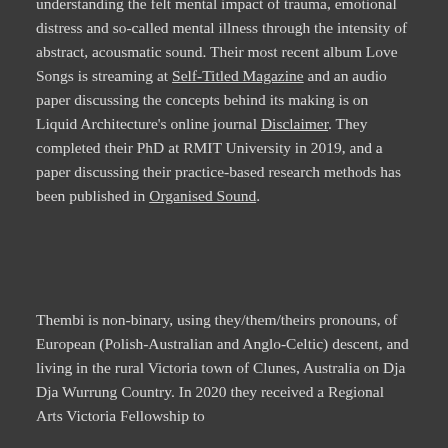understanding the felt mental impact of trauma, emotional distress and so-called mental illness through the intensity of abstract, acousmatic sound. Their most recent album Love Songs is streaming at Self-Titled Magazine and an audio paper discussing the concepts behind its making is on Liquid Architecture's online journal Disclaimer. They completed their PhD at RMIT University in 2019, and a paper discussing their practice-based research methods has been published in Organised Sound.
Thembi is non-binary, using they/them/theirs pronouns, of European (Polish-Australian and Anglo-Celtic) descent, and living in the rural Victoria town of Clunes, Australia on Dja Dja Wurrung Country. In 2020 they received a Regional Arts Victoria Fellowship to